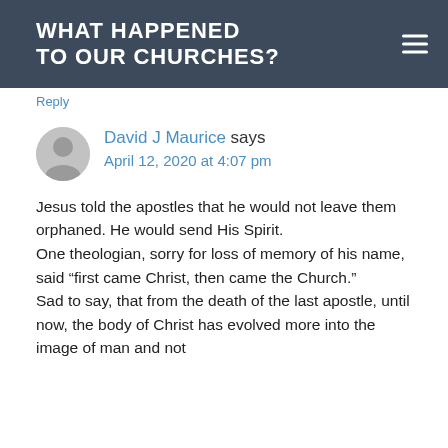WHAT HAPPENED TO OUR CHURCHES?
Reply
David J Maurice says
April 12, 2020 at 4:07 pm
Jesus told the apostles that he would not leave them orphaned. He would send His Spirit.
One theologian, sorry for loss of memory of his name, said “first came Christ, then came the Church.”
Sad to say, that from the death of the last apostle, until now, the body of Christ has evolved more into the image of man and not